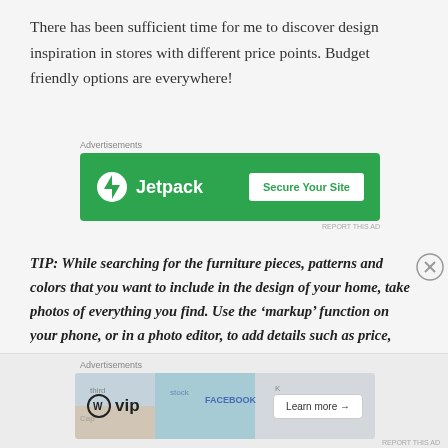There has been sufficient time for me to discover design inspiration in stores with different price points. Budget friendly options are everywhere!
[Figure (screenshot): Jetpack advertisement banner with green background showing Jetpack logo and 'Secure Your Site' button]
TIP: While searching for the furniture pieces, patterns and colors that you want to include in the design of your home, take photos of everything you find. Use the ‘markup’ function on your phone, or in a photo editor, to add details such as price, item number or the retailer where you found each product.
[Figure (screenshot): WordPress VIP advertisement banner with social media themed background showing WP VIP logo and 'Learn more' button]